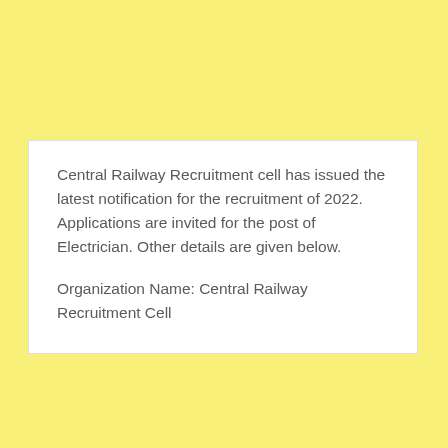Central Railway Recruitment cell has issued the latest notification for the recruitment of 2022. Applications are invited for the post of Electrician. Other details are given below.
Organization Name: Central Railway Recruitment Cell